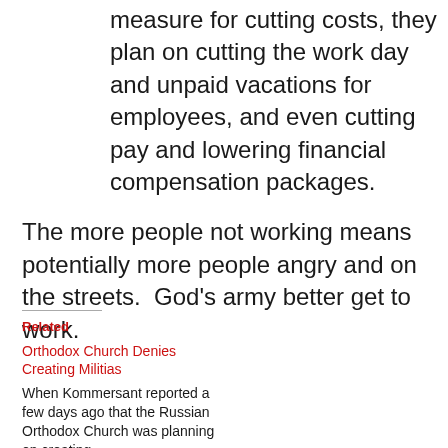measure for cutting costs, they plan on cutting the work day and unpaid vacations for employees, and even cutting pay and lowering financial compensation packages.
The more people not working means potentially more people angry and on the streets.  God's army better get to work.
Related
Orthodox Church Denies Creating Militias
When Kommersant reported a few days ago that the Russian Orthodox Church was planning on creating...